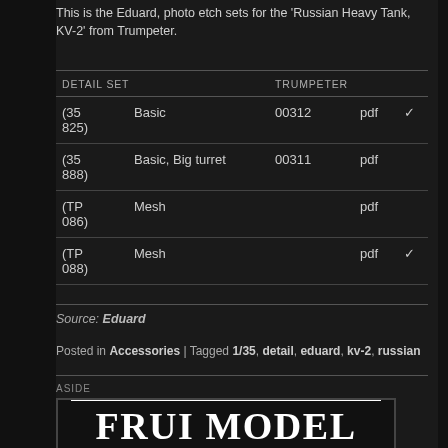This is the Eduard, photo etch sets for the 'Russian Heavy Tank, KV-2' from Trumpeter.
| DETAIL SET |  | TRUMPETER | pdf |  |
| --- | --- | --- | --- | --- |
| (35 825) | Basic | 00312 | pdf | ✓ |
| (35 888) | Basic, Big turret | 00311 | pdf |  |
| (TP 086) | Mesh |  | pdf |  |
| (TP 088) | Mesh |  | pdf | ✓ |
Source: Eduard
Posted in Accessories | Tagged 1/35, detail, eduard, kv-2, russian
ASIDE
[Figure (logo): FRUI MODEL logo in large serif bold white text on dark background with horizontal rules]